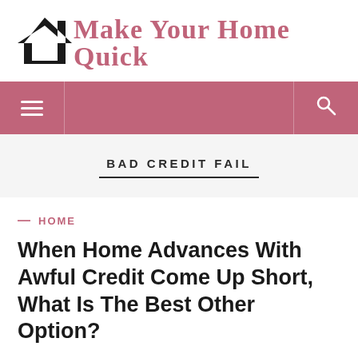[Figure (logo): Make Your Home Quick website logo — black house/arrow icon on left, pink serif bold text 'Make Your Home Quick' on right]
[Figure (other): Pink navigation bar with hamburger menu icon on left and search icon on right]
BAD CREDIT FAIL
— HOME
When Home Advances With Awful Credit Come Up Short, What Is The Best Other Option?